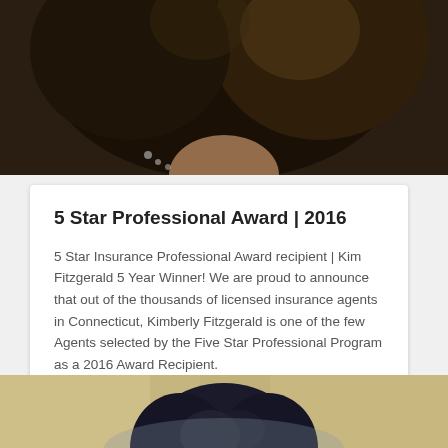[Figure (photo): Close-up photo of a woman with curly dark hair and a necklace, cropped at the top of the page]
5 Star Professional Award | 2016
5 Star Insurance Professional Award recipient | Kim Fitzgerald 5 Year Winner! We are proud to announce that out of the thousands of licensed insurance agents in Connecticut, Kimberly Fitzgerald is one of the few Agents selected by the Five Star Professional Program as a 2016 Award Recipient.
[Figure (photo): Photo of a woman with curly dark hair, cropped at the bottom of the page with a warm beige/yellow background]